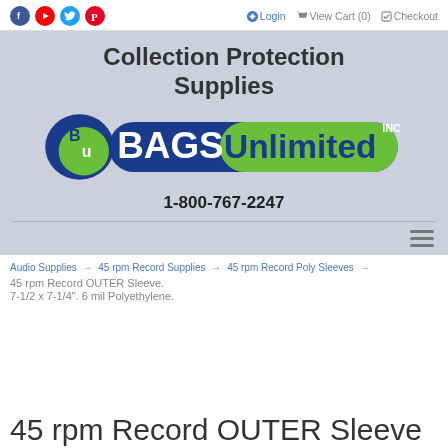Login | View Cart (0) | Checkout
[Figure (logo): Bags Unlimited Inc. logo with green and blue oval badge and Collection Protection Supplies header banner with phone number 1-800-767-2247]
Audio Supplies → 45 rpm Record Supplies → 45 rpm Record Poly Sleeves →
45 rpm Record OUTER Sleeve.
7-1/2 x 7-1/4". 6 mil Polyethylene.
45 rpm Record OUTER Sleeve